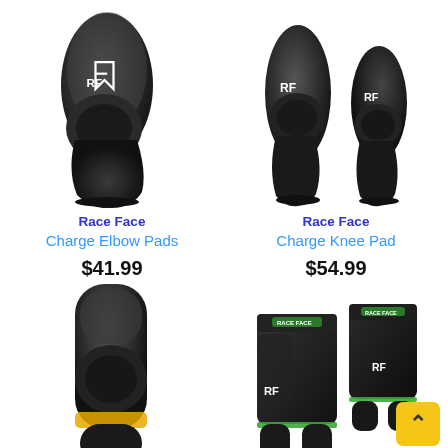[Figure (photo): Race Face Charge Elbow Pads black protective gear]
Race Face
Charge Elbow Pads
$41.99
[Figure (photo): Race Face Charge Knee Pad black protective gear, two views]
Race Face
Charge Knee Pad
$54.99
[Figure (photo): Race Face knee sleeve/pad product, partially shown]
[Figure (photo): Race Face padded shorts product, partially shown, with back-to-top button]